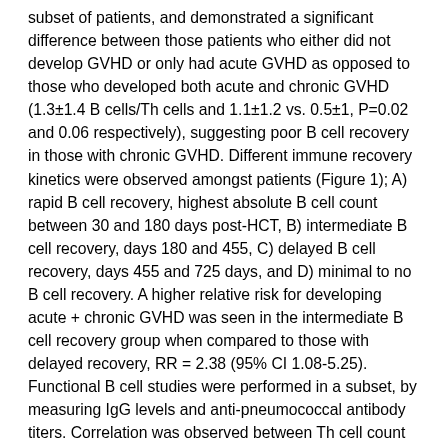subset of patients, and demonstrated a significant difference between those patients who either did not develop GVHD or only had acute GVHD as opposed to those who developed both acute and chronic GVHD (1.3±1.4 B cells/Th cells and 1.1±1.2 vs. 0.5±1, P=0.02 and 0.06 respectively), suggesting poor B cell recovery in those with chronic GVHD. Different immune recovery kinetics were observed amongst patients (Figure 1); A) rapid B cell recovery, highest absolute B cell count between 30 and 180 days post-HCT, B) intermediate B cell recovery, days 180 and 455, C) delayed B cell recovery, days 455 and 725 days, and D) minimal to no B cell recovery. A higher relative risk for developing acute + chronic GVHD was seen in the intermediate B cell recovery group when compared to those with delayed recovery, RR = 2.38 (95% CI 1.08-5.25). Functional B cell studies were performed in a subset, by measuring IgG levels and anti-pneumococcal antibody titers. Correlation was observed between Th cell count and IgG levels over time in individual patients (median R